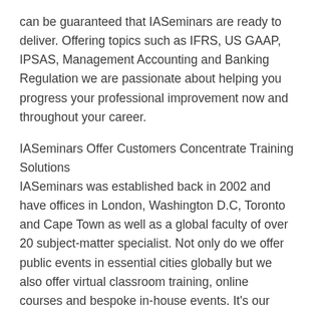can be guaranteed that IASeminars are ready to deliver. Offering topics such as IFRS, US GAAP, IPSAS, Management Accounting and Banking Regulation we are passionate about helping you progress your professional improvement now and throughout your career.
IASeminars Offer Customers Concentrate Training Solutions
IASeminars was established back in 2002 and have offices in London, Washington D.C, Toronto and Cape Town as well as a global faculty of over 20 subject-matter specialist. Not only do we offer public events in essential cities globally but we also offer virtual classroom training, online courses and bespoke in-house events. It's our profession to match you with the training that best suits your wants! Most significantly our client concentrated culture influences everything that we do. Our client assist and account management team will work to supply you with the best client experience. You can be overconfident that we won't sell you courses that don't match your wants, instead we want our courses to meet your matchless needs. We think this is why our customers come back to us time and time again. And with a customers list which contains Fortune 500 firms, financial regulators,